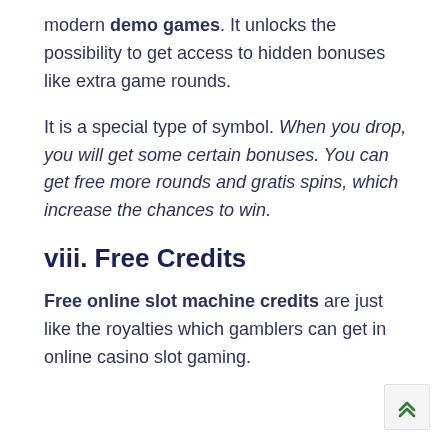modern demo games. It unlocks the possibility to get access to hidden bonuses like extra game rounds.
It is a special type of symbol. When you drop, you will get some certain bonuses. You can get free more rounds and gratis spins, which increase the chances to win.
viii. Free Credits
Free online slot machine credits are just like the royalties which gamblers can get in online casino slot gaming.